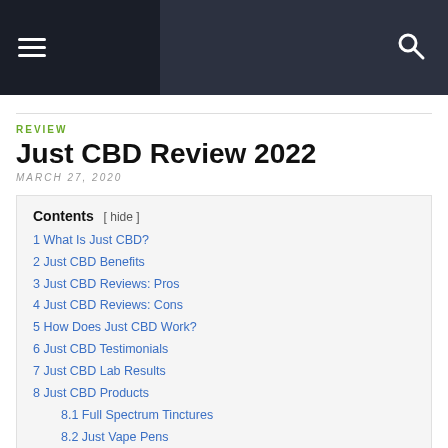Navigation bar with hamburger menu and search icon
REVIEW
Just CBD Review 2022
MARCH 27, 2020
Contents [ hide ]
1 What Is Just CBD?
2 Just CBD Benefits
3 Just CBD Reviews: Pros
4 Just CBD Reviews: Cons
5 How Does Just CBD Work?
6 Just CBD Testimonials
7 Just CBD Lab Results
8 Just CBD Products
8.1 Full Spectrum Tinctures
8.2 Just Vape Pens
8.3 Just Gummies